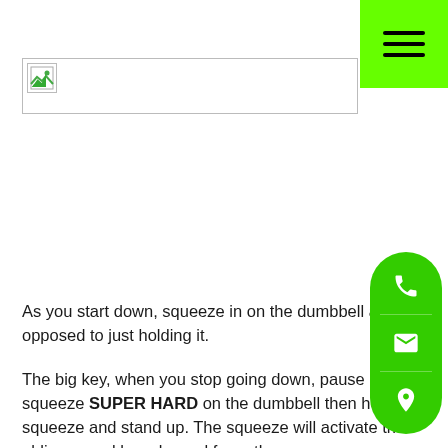[Figure (screenshot): Green navigation menu button in top-right corner with three horizontal lines (hamburger menu icon)]
[Figure (photo): Image placeholder with broken image icon in the upper portion of the page]
As you start down, squeeze in on the dumbbell as opposed to just holding it.
The big key, when you stop going down, pause briefly, squeeze SUPER HARD on the dumbbell then hold the squeeze and stand up. The squeeze will activate the obliques and low abs and force the